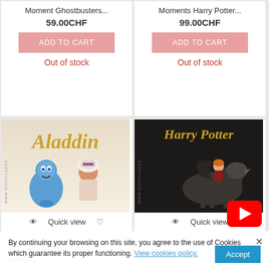Moment Ghostbusters...
59.00CHF
ADD TO CART
Out of stock
Moments Harry Potter...
99.00CHF
ADD TO CART
Out of stock
[Figure (photo): Aladdin Funko Pop Disney Movie Moment - Genie and Aladdin figures with WWW.NOSTALGEEK watermark]
Quick view
[Figure (photo): Harry Potter Funko Pop Moment - Ron on hippogriff figure with WWW.NOSTALGEEK watermark]
Quick view
Funko Pop Disney Movie Moment...
59.00CHF
Funko Pop Moment Harry Potter...
59.00CHF
By continuing your browsing on this site, you agree to the use of Cookies which guarantee its proper functioning. View cookies policy.
Accept